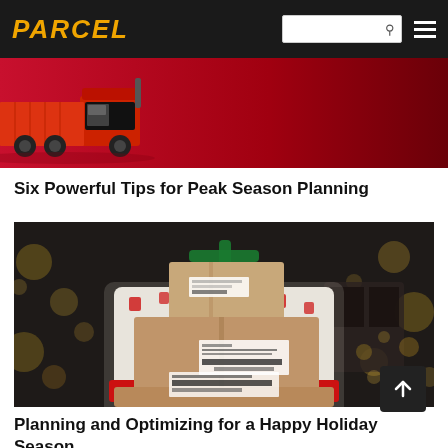PARCEL
[Figure (photo): Red delivery truck on a red background — promotional banner image for Parcel magazine]
Six Powerful Tips for Peak Season Planning
[Figure (photo): Woman in a Christmas sweater holding a stack of cardboard shipping boxes with labels, with holiday lights and a Christmas tree in the background]
Planning and Optimizing for a Happy Holiday Season